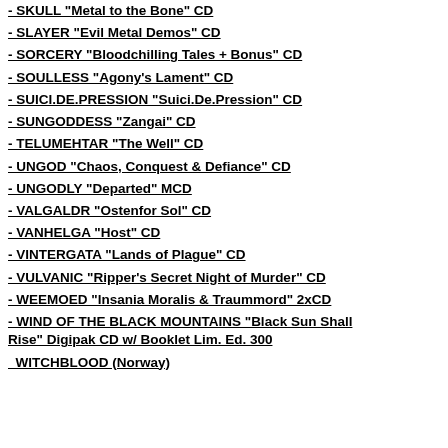- SKULL "Metal to the Bone" CD
- SLAYER "Evil Metal Demos" CD
- SORCERY "Bloodchilling Tales + Bonus" CD
- SOULLESS "Agony's Lament" CD
- SUICI.DE.PRESSION "Suici.De.Pression" CD
- SUNGODDESS "Zangai" CD
- TELUMEHTAR "The Well" CD
- UNGOD "Chaos, Conquest & Defiance" CD
- UNGODLY "Departed" MCD
- VALGALDR "Ostenfor Sol" CD
- VANHELGA "Host" CD
- VINTERGATA "Lands of Plague" CD
- VULVANIC "Ripper's Secret Night of Murder" CD
- WEEMOED "Insania Moralis & Traummord" 2xCD
- WIND OF THE BLACK MOUNTAINS "Black Sun Shall Rise" Digipak CD w/ Booklet Lim. Ed. 300
WITCHBLOOD (Norway)